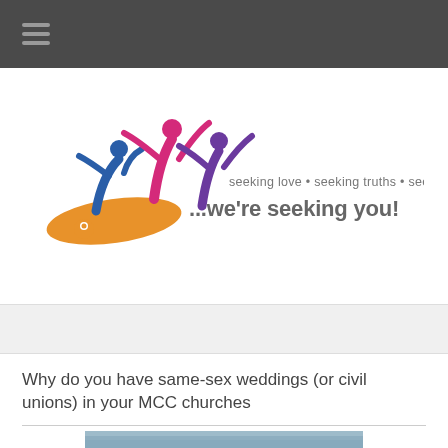[Figure (logo): MCC church logo with colorful figures (blue, magenta, purple, orange) reaching upward, with tagline 'seeking love • seeking truths • seeking justice ...we're seeking you!']
Why do you have same-sex weddings (or civil unions) in your MCC churches
[Figure (photo): Partial photo of water/ocean scene at the bottom of the page]